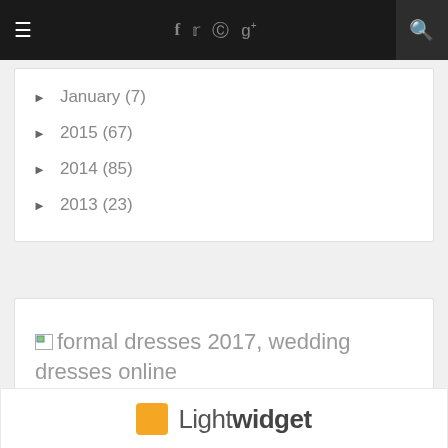Navigation bar with menu, social icons (f, twitter, instagram, g+), and search
► January (7)
► 2015 (67)
► 2014 (85)
► 2013 (23)
[Figure (other): Broken image placeholder with alt text: formal dresses 2017, wedding dresses online]
[Figure (logo): LightWidget logo — orange square with text Light widget]